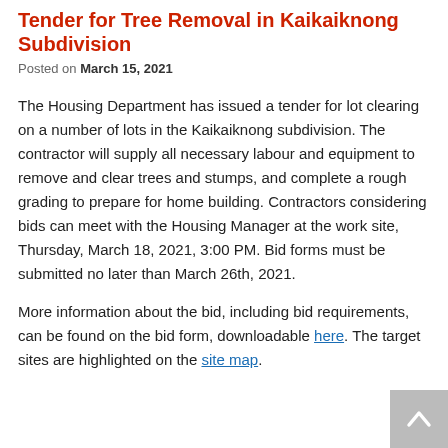Tender for Tree Removal in Kaikaiknong Subdivision
Posted on March 15, 2021
The Housing Department has issued a tender for lot clearing on a number of lots in the Kaikaiknong subdivision. The contractor will supply all necessary labour and equipment to remove and clear trees and stumps, and complete a rough grading to prepare for home building. Contractors considering bids can meet with the Housing Manager at the work site, Thursday, March 18, 2021, 3:00 PM. Bid forms must be submitted no later than March 26th, 2021.
More information about the bid, including bid requirements, can be found on the bid form, downloadable here. The target sites are highlighted on the site map.